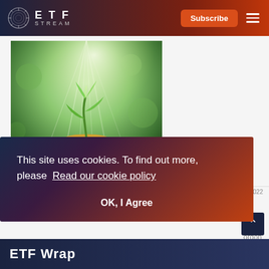ETF STREAM
[Figure (photo): Green plant seedling growing from a pile of coins with bright light rays in the background — ESG / sustainable investing concept photo]
INDUSTRY UPDATES
04 Aug 2022
Invesco halves fee on active global multi-factor ESG
This site uses cookies. To find out more, please Read our cookie policy
OK, I Agree
ordon
ETF Wrap